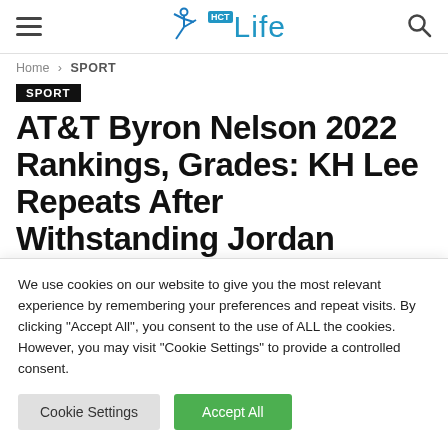HCT Life — site header with hamburger menu, logo, and search icon
Home › SPORT
SPORT
AT&T Byron Nelson 2022 Rankings, Grades: KH Lee Repeats After Withstanding Jordan Spieth Challenge
We use cookies on our website to give you the most relevant experience by remembering your preferences and repeat visits. By clicking "Accept All", you consent to the use of ALL the cookies. However, you may visit "Cookie Settings" to provide a controlled consent.